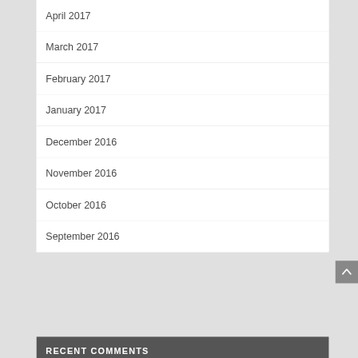April 2017
March 2017
February 2017
January 2017
December 2016
November 2016
October 2016
September 2016
RECENT COMMENTS